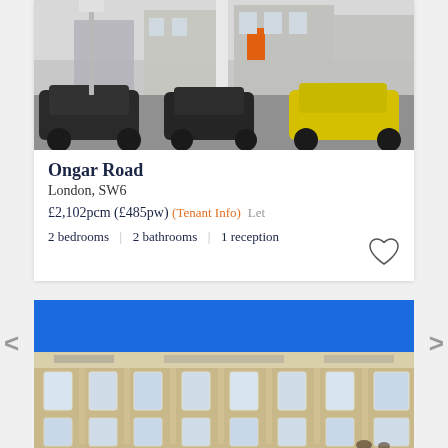[Figure (photo): Street-level photo of a residential building on Ongar Road, London, showing parked cars including a yellow car, with a white column/post and buildings in the background.]
Ongar Road
London, SW6
£2,102pcm (£485pw) (Tenant Info)   Let
2 bedrooms  |  2 bathrooms  |  1 reception
[Figure (photo): Street-level photo of a large Victorian-era brick building with blue sky above, featuring multiple white-framed sash windows and ornate stonework details.]